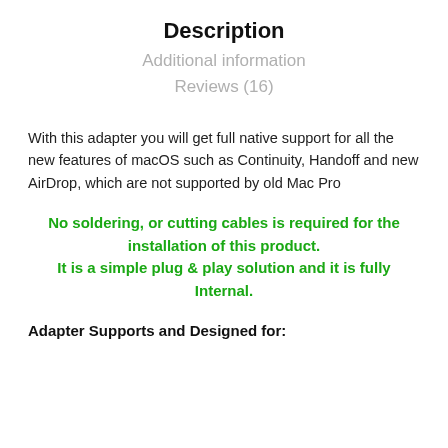Description
Additional information
Reviews (16)
With this adapter you will get full native support for all the new features of macOS such as Continuity, Handoff and new AirDrop, which are not supported by old Mac Pro
No soldering, or cutting cables is required for the installation of this product. It is a simple plug & play solution and it is fully Internal.
Adapter Supports and Designed for: